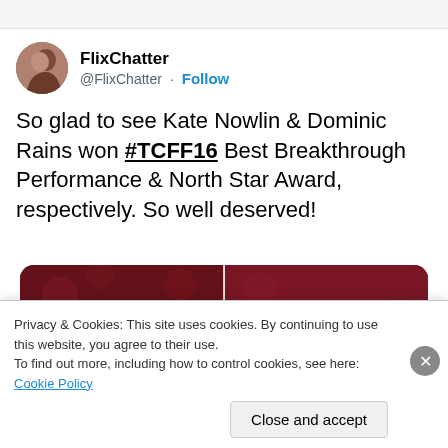FlixChatter
@FlixChatter · Follow
So glad to see Kate Nowlin & Dominic Rains won #TCFF16 Best Breakthrough Performance & North Star Award, respectively. So well deserved!
[Figure (photo): Two side-by-side photos of people at a film festival event against a red floral background.]
Privacy & Cookies: This site uses cookies. By continuing to use this website, you agree to their use. To find out more, including how to control cookies, see here: Cookie Policy
Close and accept